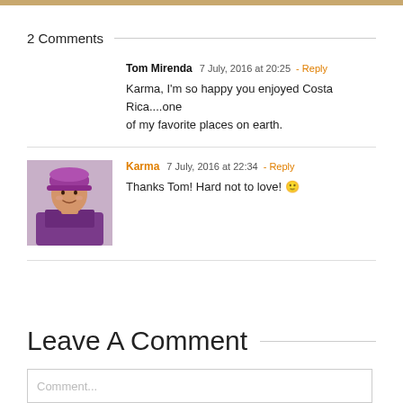2 Comments
Tom Mirenda  7 July, 2016 at 20:25  - Reply
Karma, I'm so happy you enjoyed Costa Rica....one of my favorite places on earth.
[Figure (photo): Avatar photo of Karma, a woman wearing a purple hat and jacket]
Karma  7 July, 2016 at 22:34  - Reply
Thanks Tom! Hard not to love! 🙂
Leave A Comment
Comment...